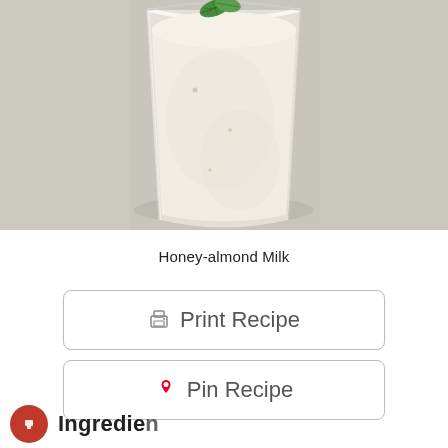[Figure (photo): A glass filled with creamy white honey-almond milk smoothie, topped with a fresh green mint leaf, on a light gray/white background.]
Honey-almond Milk
Print Recipe
Pin Recipe
Ingredients